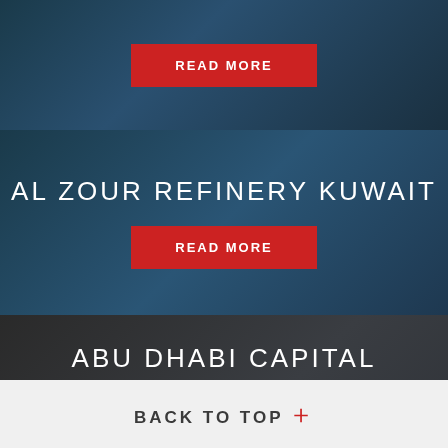[Figure (photo): Construction crane background photo with dark teal overlay, showing 'READ MORE' button]
AL ZOUR REFINERY KUWAIT
[Figure (photo): READ MORE button over refinery/crane background]
ABU DHABI CAPITAL DISTRICT – UAE
[Figure (photo): READ MORE button over utility pole/dark background]
BACK TO TOP +